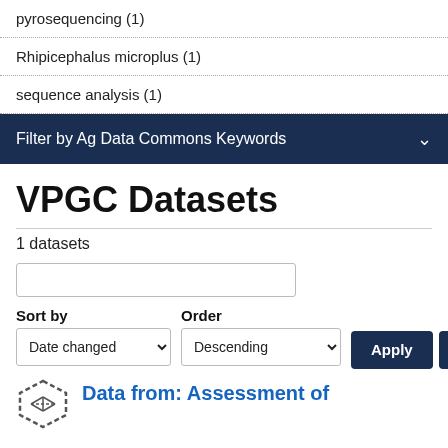pyrosequencing (1)
Rhipicephalus microplus (1)
sequence analysis (1)
Filter by Ag Data Commons Keywords
VPGC Datasets
1 datasets
Sort by  Order  Date changed  Descending  Apply  Reset
Data from: Assessment of